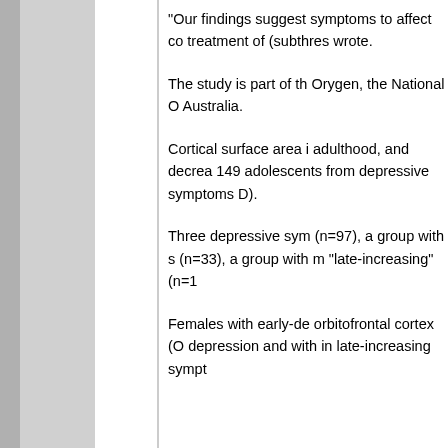“Our findings suggest symptoms to affect co treatment of (subthres wrote.
The study is part of the Orygen, the National O Australia.
Cortical surface area i adulthood, and decrea 149 adolescents from depressive symptoms D).
Three depressive sym (n=97), a group with s (n=33), a group with m “late-increasing” (n=1
Females with early-de orbitofrontal cortex (O depression and with in late-increasing sympt